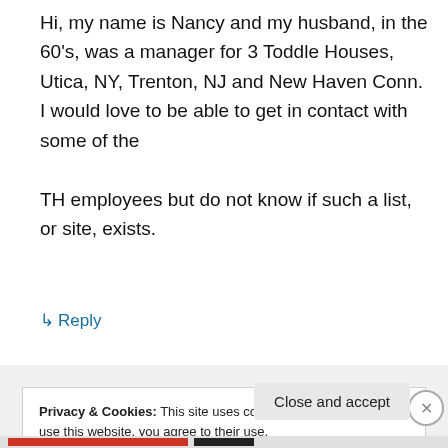Hi, my name is Nancy and my husband, in the 60's, was a manager for 3 Toddle Houses, Utica, NY, Trenton, NJ and New Haven Conn. I would love to be able to get in contact with some of the TH employees but do not know if such a list, or site, exists.
↳ Reply
Privacy & Cookies: This site uses cookies. By continuing to use this website, you agree to their use.
To find out more, including how to control cookies, see here: Cookie Policy
Close and accept